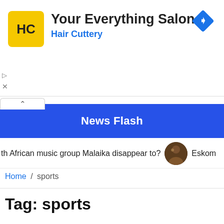[Figure (logo): Hair Cuttery advertisement banner with HC logo in yellow square, title 'Your Everything Salon', subtitle 'Hair Cuttery', and blue diamond navigation arrow icon]
News Flash
th African music group Malaika disappear to?   Eskom
Home / sports
Tag: sports